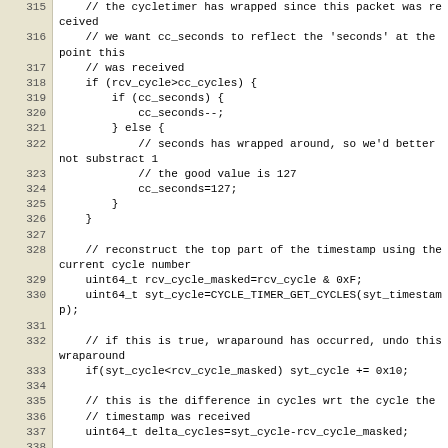Source code listing lines 315-341
| line | code |
| --- | --- |
| 315 |     // the cycletimer has wrapped since this packet was received |
| 316 |     // we want cc_seconds to reflect the 'seconds' at the point this |
| 317 |     // was received |
| 318 |     if (rcv_cycle>cc_cycles) { |
| 319 |         if (cc_seconds) { |
| 320 |             cc_seconds--; |
| 321 |         } else { |
| 322 |             // seconds has wrapped around, so we'd better not substract 1 |
| 323 |             // the good value is 127 |
| 324 |             cc_seconds=127; |
| 325 |         } |
| 326 |     } |
| 327 |  |
| 328 |     // reconstruct the top part of the timestamp using the current cycle number |
| 329 |     uint64_t rcv_cycle_masked=rcv_cycle & 0xF; |
| 330 |     uint64_t syt_cycle=CYCLE_TIMER_GET_CYCLES(syt_timestamp); |
| 331 |  |
| 332 |     // if this is true, wraparound has occurred, undo this wraparound |
| 333 |     if(syt_cycle<rcv_cycle_masked) syt_cycle += 0x10; |
| 334 |  |
| 335 |     // this is the difference in cycles wrt the cycle the |
| 336 |     // timestamp was received |
| 337 |     uint64_t delta_cycles=syt_cycle-rcv_cycle_masked; |
| 338 |  |
| 339 |     // reconstruct the cycle part of the timestamp |
| 340 |     uint64_t new_cycles=rcv_cycle + delta_cycles; |
| 341 |  |